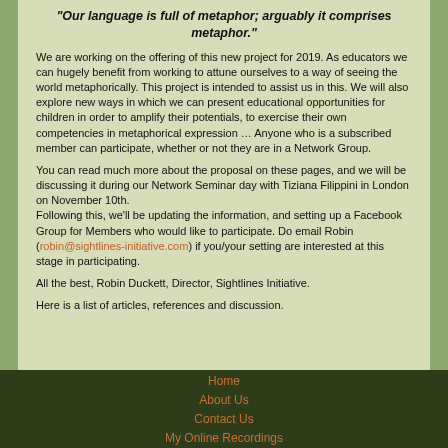"Our language is full of metaphor; arguably it comprises metaphor."
We are working on the offering of this new project for 2019. As educators we can hugely benefit from working to attune ourselves to a way of seeing the world metaphorically. This project is intended to assist us in this. We will also explore new ways in which we can present educational opportunities for children in order to amplify their potentials, to exercise their own competencies in metaphorical expression … Anyone who is a subscribed member can participate, whether or not they are in a Network Group.
You can read much more about the proposal on these pages, and we will be discussing it during our Network Seminar day with Tiziana Filippini in London on November 10th. Following this, we'll be updating the information, and setting up a Facebook Group for Members who would like to participate. Do email Robin (robin@sightlines-initiative.com) if you/your setting are interested at this stage in participating.
All the best, Robin Duckett, Director, Sightlines Initiative.
Here is a list of articles, references and discussion.
Home | About Us | Contact Us | My Online Recordings